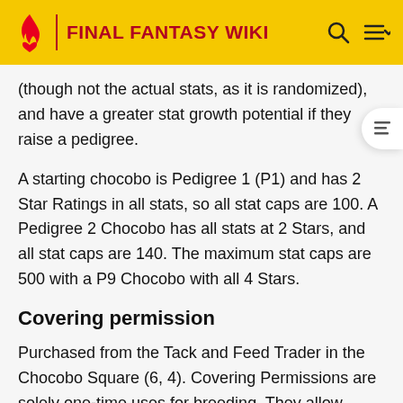FINAL FANTASY WIKI
(though not the actual stats, as it is randomized), and have a greater stat growth potential if they raise a pedigree.
A starting chocobo is Pedigree 1 (P1) and has 2 Star Ratings in all stats, so all stat caps are 100. A Pedigree 2 Chocobo has all stats at 2 Stars, and all stat caps are 140. The maximum stat caps are 500 with a P9 Chocobo with all 4 Stars.
Covering permission
Purchased from the Tack and Feed Trader in the Chocobo Square (6, 4). Covering Permissions are solely one-time uses for breeding. They allow players to breed their chocobo with another without racing another to rank 40